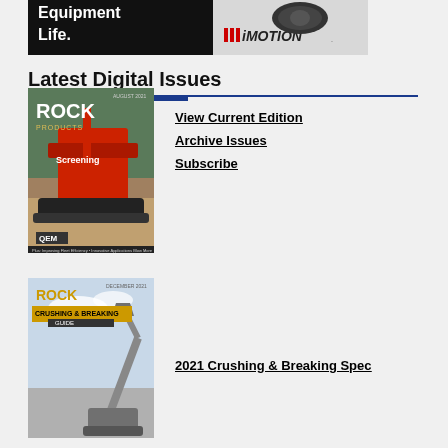[Figure (illustration): Advertisement banner for MiMotion with text 'Equipment Life.' on a black background with a red and grey logo on the right side]
Latest Digital Issues
[Figure (photo): Cover of Rock Products magazine showing red screening equipment on a quarry site, with the heading 'Screening' and 'QEM' label]
View Current Edition
Archive Issues
Subscribe
[Figure (photo): Cover of Rock Products Crushing & Breaking Guide magazine showing excavator machinery against a sky background]
2021 Crushing & Breaking Spec